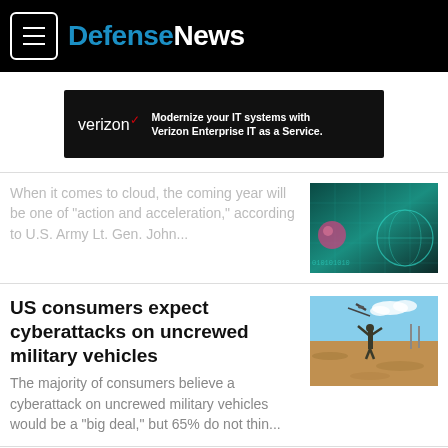Defense News
[Figure (infographic): Verizon advertisement banner: 'Modernize your IT systems with Verizon Enterprise IT as a Service.']
When it comes to cloud, the coming year will be one of "action and acceleration," according to U.S. Army Lt. Gen. John...
[Figure (photo): Cyber/digital themed image with teal colors and binary/data visualization]
US consumers expect cyberattacks on uncrewed military vehicles
The majority of consumers believe a cyberattack on uncrewed military vehicles would be a "big deal," but 65% do not thin...
[Figure (photo): Soldier in desert launching small UAV/drone by hand, sandy desert background]